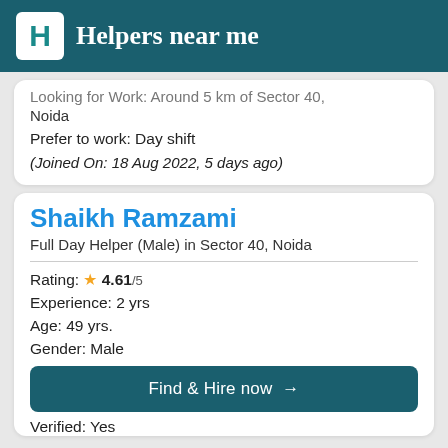Helpers near me
Looking for Work: Around 5 km of Sector 40, Noida
Prefer to work: Day shift
(Joined On: 18 Aug 2022, 5 days ago)
Shaikh Ramzami
Full Day Helper (Male) in Sector 40, Noida
Rating: ★ 4.61/5
Experience: 2 yrs
Age: 49 yrs.
Gender: Male
Find & Hire now →
Verified: Yes